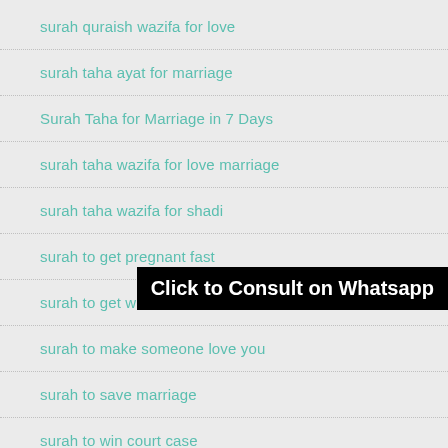surah quraish wazifa for love
surah taha ayat for marriage
Surah Taha for Marriage in 7 Days
surah taha wazifa for love marriage
surah taha wazifa for shadi
surah to get pregnant fast
surah to get wife back
surah to make someone love you
surah to save marriage
surah to win court case
Click to Consult on Whatsapp